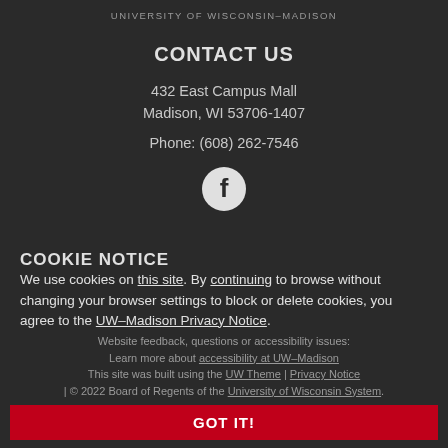UNIVERSITY OF WISCONSIN–MADISON
CONTACT US
432 East Campus Mall
Madison, WI 53706-1407
Phone: (608) 262-7546
[Figure (logo): Facebook icon in a white circle]
COOKIE NOTICE
We use cookies on this site. By continuing to browse without changing your browser settings to block or delete cookies, you agree to the UW–Madison Privacy Notice.
Website feedback, questions or accessibility issues: Learn more about accessibility at UW–Madison
This site was built using the UW Theme | Privacy Notice | © 2022 Board of Regents of the University of Wisconsin System.